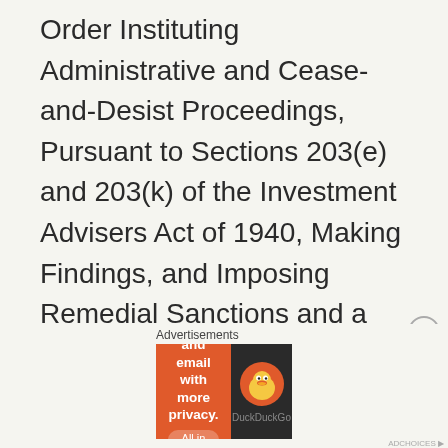Order Instituting Administrative and Cease-and-Desist Proceedings, Pursuant to Sections 203(e) and 203(k) of the Investment Advisers Act of 1940, Making Findings, and Imposing Remedial Sanctions and a Cease-and-Desist Order. Leave a like and a comment on the blog to spread the word of this case. How bad was it? from SEC.gov Updates:
[Figure (screenshot): DuckDuckGo advertisement banner with orange left side reading 'Search, browse, and email with more privacy. All in One Free App' and dark right side with DuckDuckGo duck logo]